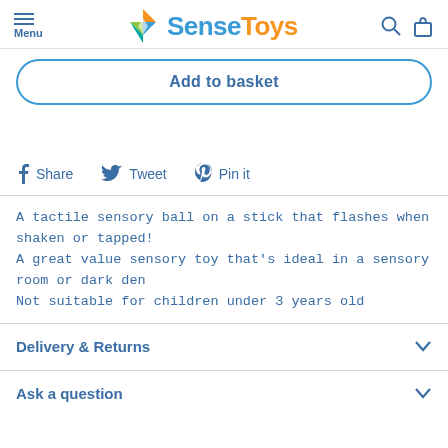Menu | SenseToys
Add to basket
Share  Tweet  Pin it
A tactile sensory ball on a stick that flashes when shaken or tapped! A great value sensory toy that's ideal in a sensory room or dark den Not suitable for children under 3 years old
Delivery & Returns
Ask a question